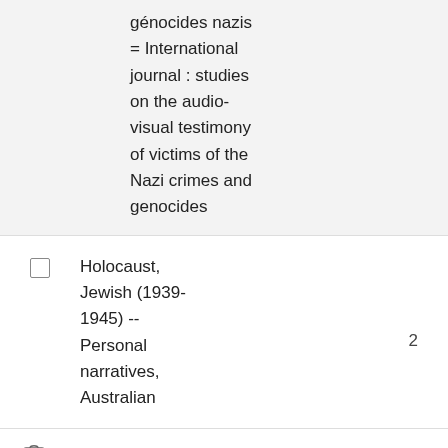génocides nazis = International journal : studies on the audio-visual testimony of victims of the Nazi crimes and genocides
Holocaust, Jewish (1939-1945) -- Personal narratives, Australian
2
ADD MARKED TO BAG
ADD ALL ON PAGE